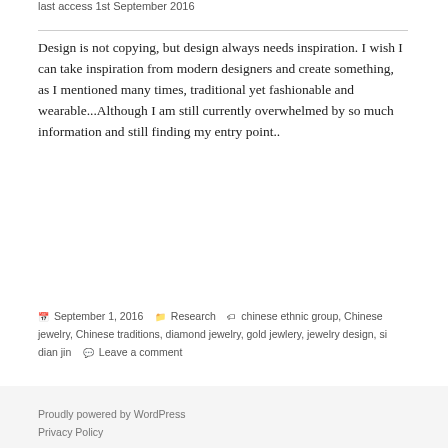last access 1st September 2016
Design is not copying, but design always needs inspiration. I wish I can take inspiration from modern designers and create something, as I mentioned many times, traditional yet fashionable and wearable...Although I am still currently overwhelmed by so much information and still finding my entry point..
September 1, 2016  Research  chinese ethnic group, Chinese jewelry, Chinese traditions, diamond jewelry, gold jewlery, jewelry design, si dian jin  Leave a comment
Proudly powered by WordPress
Privacy Policy